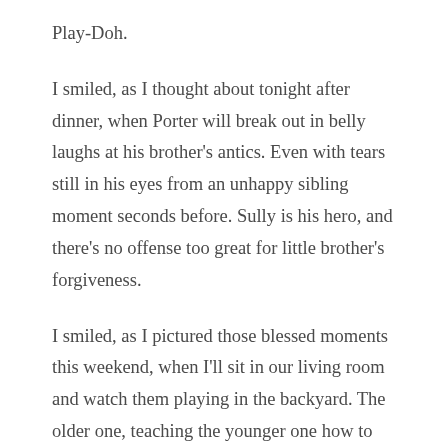Play-Doh.
I smiled, as I thought about tonight after dinner, when Porter will break out in belly laughs at his brother's antics. Even with tears still in his eyes from an unhappy sibling moment seconds before. Sully is his hero, and there's no offense too great for little brother's forgiveness.
I smiled, as I pictured those blessed moments this weekend, when I'll sit in our living room and watch them playing in the backyard. The older one, teaching the younger one how to use the toy fishing